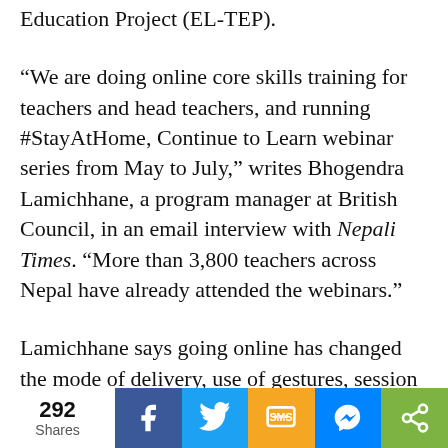Education Project (EL-TEP).
“We are doing online core skills training for teachers and head teachers, and running #StayAtHome, Continue to Learn webinar series from May to July,” writes Bhogendra Lamichhane, a program manager at British Council, in an email interview with Nepali Times. “More than 3,800 teachers across Nepal have already attended the webinars.”
Lamichhane says going online has changed the mode of delivery, use of gestures, session planning, the pattern of interaction and engagement. While only 25 participants used to attend each face-to-face session before the lockdown, the webinars have 150 people logged
292 Shares